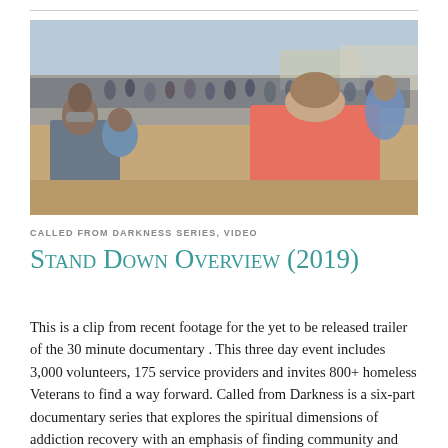[Figure (photo): Outdoor crowd scene with people gathered on a sandy/dusty area. In the foreground, a person in a bright pink/salmon shirt is visible from behind, and to the left a person appears to be holding a child. Many people and tents/canopies visible in the background.]
CALLED FROM DARKNESS SERIES, VIDEO
Stand Down Overview (2019)
This is a clip from recent footage for the yet to be released trailer of the 30 minute documentary . This three day event includes 3,000 volunteers, 175 service providers and invites 800+ homeless Veterans to find a way forward. Called from Darkness is a six-part documentary series that explores the spiritual dimensions of addiction recovery with an emphasis of finding community and